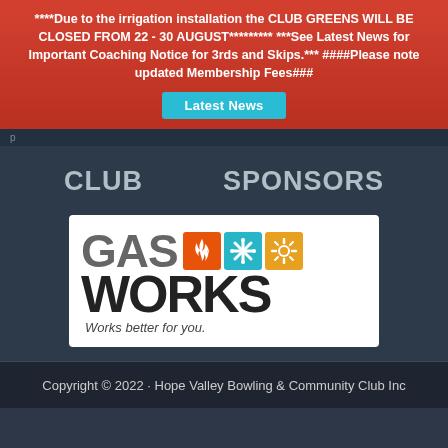****Due to the irrigation installation the CLUB GREENS WILL BE CLOSED FROM 22 - 30 AUGUST********* ***See Latest News for Important Coaching Notice for 3rds and Skips.*** ####Please note updated Membership Fees###
Latest News
CLUB      SPONSORS
[Figure (logo): GasWorks logo - grey GAS text with orange flame icon, blue snowflake icon, gold sun icon, then WORKS in black large text, with tagline 'Works better for you.' in handwritten style]
Copyright © 2022 · Hope Valley Bowling & Community Club Inc